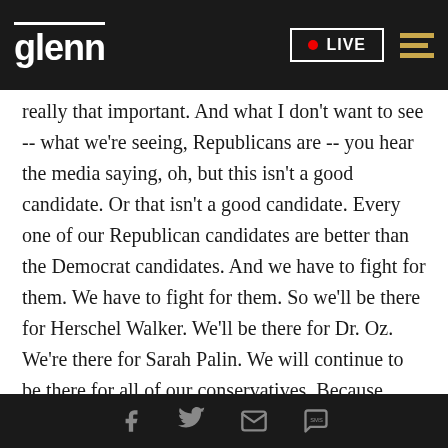glenn | LIVE
really that important. And what I don't want to see -- what we're seeing, Republicans are -- you hear the media saying, oh, but this isn't a good candidate. Or that isn't a good candidate. Every one of our Republican candidates are better than the Democrat candidates. And we have to fight for them. We have to fight for them. So we'll be there for Herschel Walker. We'll be there for Dr. Oz. We're there for Sarah Palin. We will continue to be there for all of our conservatives. Because honestly, we need their voice. We need their fight. And I'm going to be there to fight with them.
Social share icons: Facebook, Twitter, Email, SMS